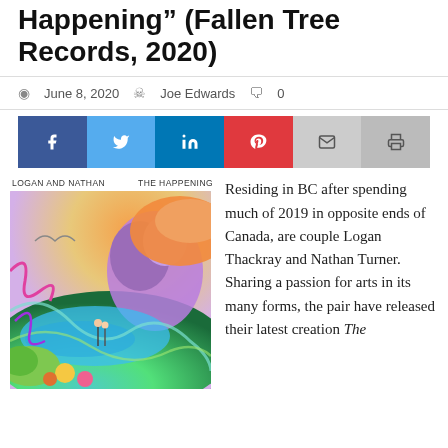Happening" (Fallen Tree Records, 2020)
June 8, 2020  Joe Edwards  0
[Figure (infographic): Social media share buttons: Facebook, Twitter, LinkedIn, Pinterest, Email, Print]
[Figure (illustration): Album cover for 'The Happening' by Logan and Nathan. Colorful psychedelic artwork with surreal landscape, figures, mushrooms, and vivid swirling colors.]
Residing in BC after spending much of 2019 in opposite ends of Canada, are couple Logan Thackray and Nathan Turner. Sharing a passion for arts in its many forms, the pair have released their latest creation The